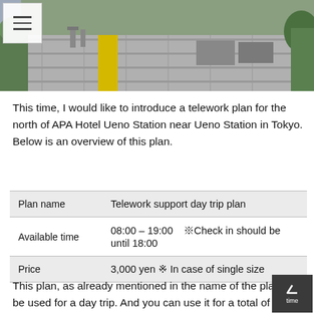[Figure (photo): Exterior photo of APA Hotel Ueno Station area, showing a paved walkway with yellow tactile paving strip, bollards, and greenery on the side.]
This time, I would like to introduce a telework plan for the north of APA Hotel Ueno Station near Ueno Station in Tokyo. Below is an overview of this plan.
| Plan name | Telework support day trip plan |
| --- | --- |
| Available time | 08:00 – 19:00　※Check in should be until 18:00 |
| Price | 3,000 yen ※ In case of single size |
This plan, as already mentioned in the name of the plan, will be used for a day trip. And you can use it for a total of 11 hours. This plan is recommended for older mans who "want to spend their time without being disturbed by anyone once in a while", which is